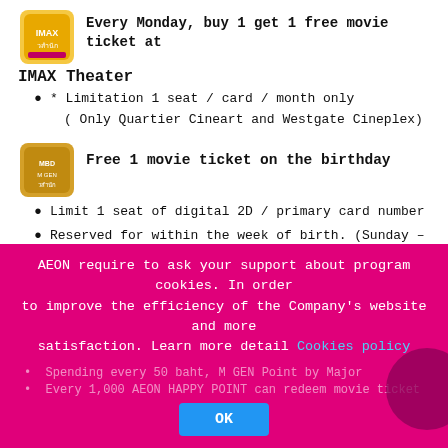[Figure (logo): IMAX/M GEN card logo icon]
Every Monday, buy 1 get 1 free movie ticket at
IMAX Theater
* Limitation 1 seat / card / month only
( Only Quartier Cineart and Westgate Cineplex)
[Figure (logo): Birthday movie ticket logo icon]
Free 1 movie ticket on the birthday
Limit 1 seat of digital 2D / primary card number
Reserved for within the week of birth. (Sunday – Saturday)
Special discount for Digital 2D / 3D / IMAX / 4Dx Theater
50 baht discount on all seat (except Sofa) at IMAX theater
20 baht discount on regular or honeymoon seat at Digital 2D / 3D / 4Dx theater
AEON require to ask your support about program cookies. In order to improve the efficiency of the Company's website and more satisfaction. Learn more detail Cookies policy
OK